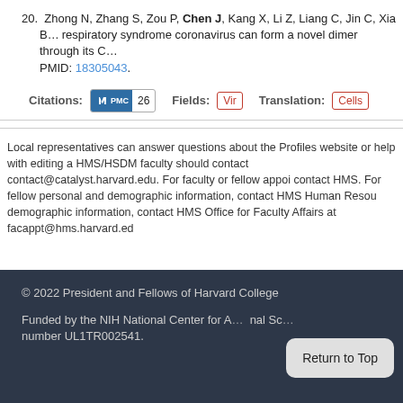20. Zhong N, Zhang S, Zou P, Chen J, Kang X, Li Z, Liang C, Jin C, Xia B... respiratory syndrome coronavirus can form a novel dimer through its C... PMID: 18305043.
Citations: PMC 26   Fields: Vir   Translation: Cells
Local representatives can answer questions about the Profiles website or help with editing a HMS/HSDM faculty should contact contact@catalyst.harvard.edu. For faculty or fellow appoi contact HMS. For fellow personal and demographic information, contact HMS Human Resou demographic information, contact HMS Office for Faculty Affairs at facappt@hms.harvard.ed
© 2022 President and Fellows of Harvard College

Funded by the NIH National Center for A... nal Sc... number UL1TR002541.